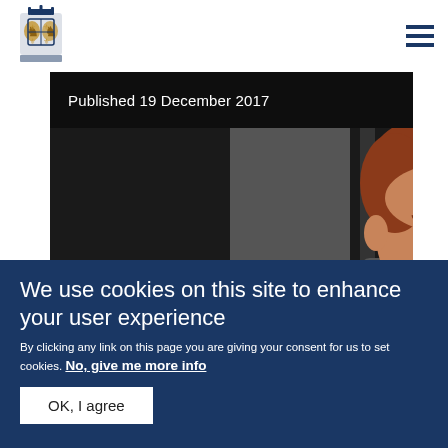[Figure (logo): Royal coat of arms logo for the Royal Family / UK government website]
[Figure (photo): Photo of a red-haired man (Prince Harry) in a room, with dark header overlay showing published date]
Published 19 December 2017
We use cookies on this site to enhance your user experience
By clicking any link on this page you are giving your consent for us to set cookies. No, give me more info
OK, I agree